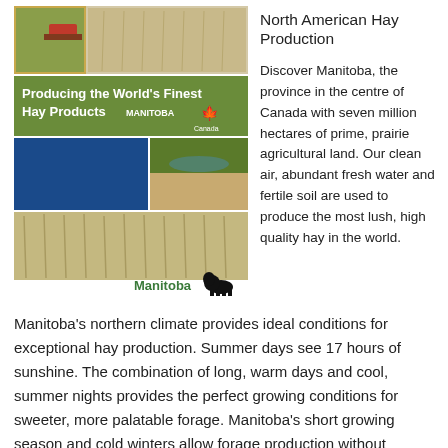[Figure (illustration): Book cover for Manitoba hay production brochure. Shows collage of agricultural images: hay fields, harvesting equipment, prairie grass, water. Green banner reads 'Producing the World's Finest Hay Products MANITOBA' with maple leaf. Blue rectangle and landscape photo below. Manitoba bison logo at bottom.]
North American Hay Production
Discover Manitoba, the province in the centre of Canada with seven million hectares of prime, prairie agricultural land. Our clean air, abundant fresh water and fertile soil are used to produce the most lush, high quality hay in the world.
Manitoba's northern climate provides ideal conditions for exceptional hay production. Summer days see 17 hours of sunshine. The combination of long, warm days and cool, summer nights provides the perfect growing conditions for sweeter, more palatable forage. Manitoba's short growing season and cold winters allow forage production without